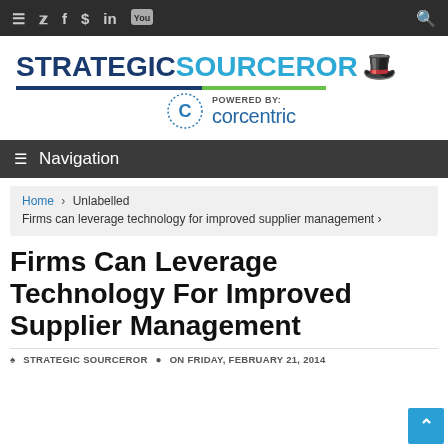Strategic Sourceror — Navigation bar with social icons
[Figure (logo): Strategic Sourceror logo with wizard hat icon and Corcentric powered-by branding]
≡ Navigation
Home › Unlabelled Firms can leverage technology for improved supplier management ›
Firms Can Leverage Technology For Improved Supplier Management
STRATEGIC SOURCEROR  ON FRIDAY, FEBRUARY 21, 2014